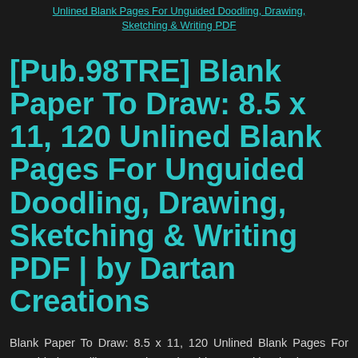Unlined Blank Pages For Unguided Doodling, Drawing, Sketching & Writing PDF
[Pub.98TRE] Blank Paper To Draw: 8.5 x 11, 120 Unlined Blank Pages For Unguided Doodling, Drawing, Sketching & Writing PDF | by Dartan Creations
Blank Paper To Draw: 8.5 x 11, 120 Unlined Blank Pages For Unguided Doodling, Drawing, Sketching & Writing by by Dartan Creations